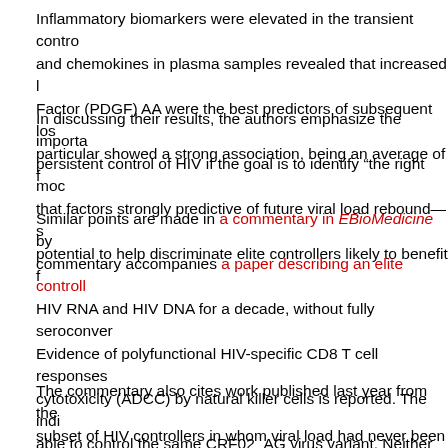Inflammatory biomarkers were elevated in the transient controllers and chemokines in plasma samples revealed that increased levels of Platelet-Derived Growth Factor (PDGF) AA were the best predictors of subsequent loss of control. PDGF AA in particular showed a strong association, being an average of f...
In discussing their results, the authors emphasize the importance of studying persistent control of HIV if the goal is to identify "the right models" and note that factors strongly predictive of future viral load rebound—such as PDGF AA—have potential to help discriminate elite controllers likely to benefit f...
Similar points are made in a commentary in EBioMedicine by... commentary accompanies a paper describing an elite controller... HIV RNA and HIV DNA for a decade, without fully seroconver... Evidence of polyfunctional HIV-specific CD8 T cell responses... cytotoxicity (ADCC) by natural killer cells is reported. The indi... able to control the same CRF02_AG virus variant. Neither pa... although both are heterozygous for the CCR5Δ32 mutation.
The commentary also cites work published last year from the subset of HIV controllers in whom viral load had never been d... a mean of 10 years of follow-up, those experiencing with...